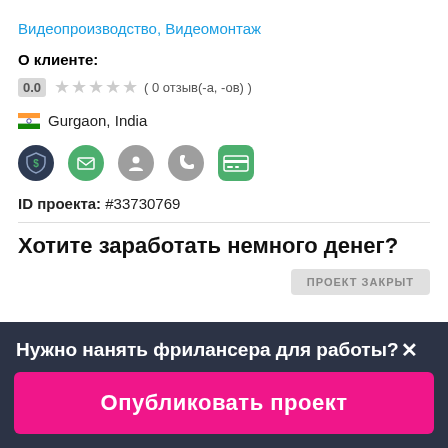Видеопроизводство, Видеомонтаж
О клиенте:
0.0  ★★★★★  ( 0 отзыв(-а, -ов) )
🇮🇳 Gurgaon, India
[Figure (infographic): Row of 5 circular/rounded icons: dark shield with dollar, green envelope, gray person, gray phone, green card/payment]
ID проекта: #33730769
Хотите заработать немного денег?
ПРОЕКТ ЗАКРЫТ
Нужно нанять фрилансера для работы?✕
Опубликовать проект